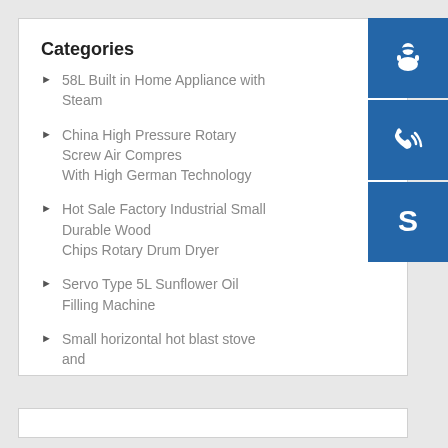Categories
58L Built in Home Appliance with Steam
China High Pressure Rotary Screw Air Compressor With High German Technology
Hot Sale Factory Industrial Small Durable Wood Chips Rotary Drum Dryer
Servo Type 5L Sunflower Oil Filling Machine
Small horizontal hot blast stove and
[Figure (illustration): Three blue icon buttons stacked vertically: a customer support/headset icon, a phone icon, and a Skype icon]